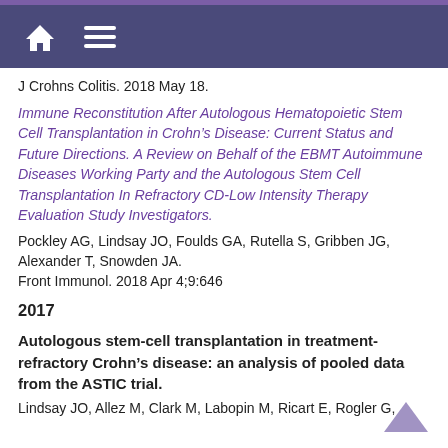Home Menu
J Crohns Colitis. 2018 May 18.
Immune Reconstitution After Autologous Hematopoietic Stem Cell Transplantation in Crohn’s Disease: Current Status and Future Directions. A Review on Behalf of the EBMT Autoimmune Diseases Working Party and the Autologous Stem Cell Transplantation In Refractory CD-Low Intensity Therapy Evaluation Study Investigators.
Pockley AG, Lindsay JO, Foulds GA, Rutella S, Gribben JG, Alexander T, Snowden JA.
Front Immunol. 2018 Apr 4;9:646
2017
Autologous stem-cell transplantation in treatment-refractory Crohn’s disease: an analysis of pooled data from the ASTIC trial.
Lindsay JO, Allez M, Clark M, Labopin M, Ricart E, Rogler G,